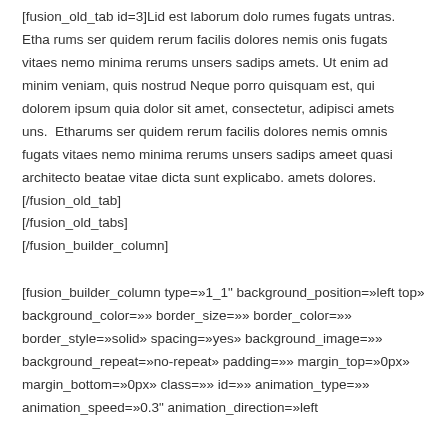[fusion_old_tab id=3]Lid est laborum dolo rumes fugats untras. Etha rums ser quidem rerum facilis dolores nemis onis fugats vitaes nemo minima rerums unsers sadips amets. Ut enim ad minim veniam, quis nostrud Neque porro quisquam est, qui dolorem ipsum quia dolor sit amet, consectetur, adipisci amets uns.  Etharums ser quidem rerum facilis dolores nemis omnis fugats vitaes nemo minima rerums unsers sadips ameet quasi architecto beatae vitae dicta sunt explicabo. amets dolores.
[/fusion_old_tab]
[/fusion_old_tabs]
[/fusion_builder_column]
[fusion_builder_column type=»1_1" background_position=»left top» background_color=»» border_size=»» border_color=»» border_style=»solid» spacing=»yes» background_image=»» background_repeat=»no-repeat» padding=»» margin_top=»0px» margin_bottom=»0px» class=»» id=»» animation_type=»» animation_speed=»0.3" animation_direction=»left